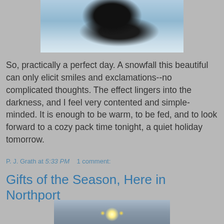[Figure (photo): A dark bird (likely a crow or raven) in snow, with blue-white snowy background, partially cropped at top of page]
So, practically a perfect day. A snowfall this beautiful can only elicit smiles and exclamations--no complicated thoughts. The effect lingers into the darkness, and I feel very contented and simple-minded. It is enough to be warm, to be fed, and to look forward to a cozy pack time tonight, a quiet holiday tomorrow.
P. J. Grath at 5:33 PM    1 comment:
Gifts of the Season, Here in Northport
[Figure (photo): Fireworks or sparkling lights against a misty grey sky with a pole or structure visible, partially cropped at bottom of page]